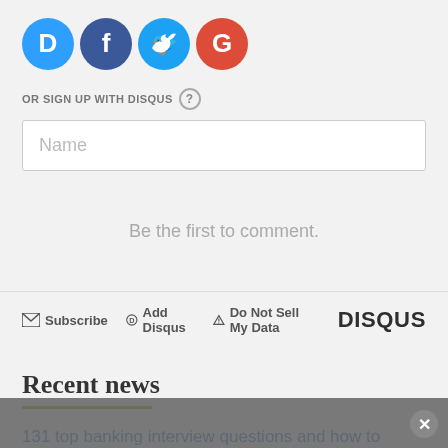[Figure (other): Social login icons: Disqus (blue), Facebook (dark blue), Twitter (light blue), Google (red) — all circular icons]
OR SIGN UP WITH DISQUS ?
[Figure (other): Name input text field with placeholder text 'Name']
Be the first to comment.
Subscribe  Add Disqus  Do Not Sell My Data  DISQUS
Recent news
131 top banking interview questions and how to answer them